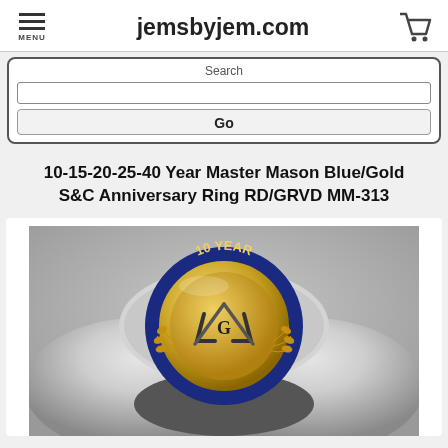jemsbyjem.com
Search
Go
10-15-20-25-40 Year Master Mason Blue/Gold S&C Anniversary Ring RD/GRVD MM-313
[Figure (photo): Close-up photograph of a silver Master Mason anniversary ring with a gold circular medallion on top. The medallion features a blue enamel border with '10 YEAR' text, a square and compass (S&C) Masonic symbol with the letter G in the center, and decorative wheat/laurel branches around the perimeter.]